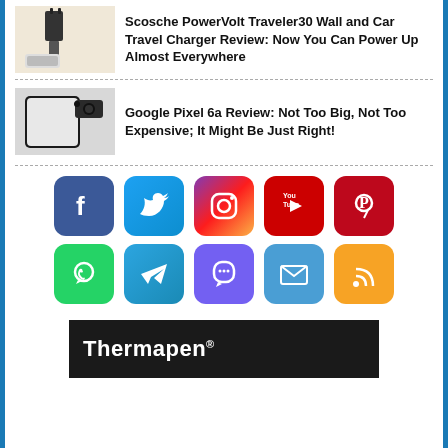[Figure (photo): Scosche PowerVolt Traveler30 wall charger plugged into outlet with phone charging on wooden surface]
Scosche PowerVolt Traveler30 Wall and Car Travel Charger Review: Now You Can Power Up Almost Everywhere
[Figure (photo): Google Pixel 6a smartphone rear view showing camera module on light background]
Google Pixel 6a Review: Not Too Big, Not Too Expensive; It Might Be Just Right!
[Figure (infographic): Social media icons grid: Facebook, Twitter, Instagram, YouTube, Pinterest (top row); WhatsApp, Telegram, Viber, Email, RSS (bottom row)]
[Figure (photo): Thermapen branded banner advertisement on dark background]